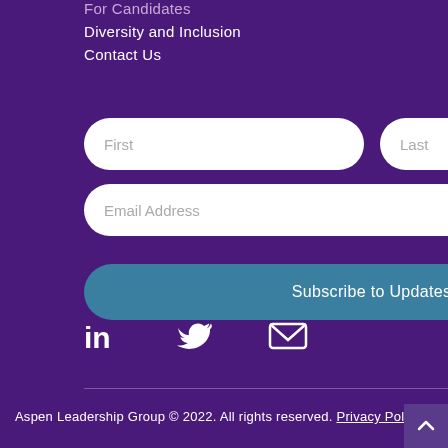For Candidates
Diversity and Inclusion
Contact Us
[Figure (screenshot): Web form with First name, Last name, Email Address fields and a Subscribe to Updates from ALG button]
[Figure (infographic): Social media icons: LinkedIn, Twitter, Email]
Aspen Leadership Group © 2022. All rights reserved. Privacy Policy